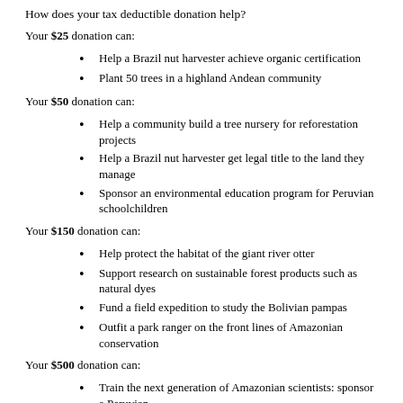How does your tax deductible donation help?
Your $25 donation can:
Help a Brazil nut harvester achieve organic certification
Plant 50 trees in a highland Andean community
Your $50 donation can:
Help a community build a tree nursery for reforestation projects
Help a Brazil nut harvester get legal title to the land they manage
Sponsor an environmental education program for Peruvian schoolchildren
Your $150 donation can:
Help protect the habitat of the giant river otter
Support research on sustainable forest products such as natural dyes
Fund a field expedition to study the Bolivian pampas
Outfit a park ranger on the front lines of Amazonian conservation
Your $500 donation can:
Train the next generation of Amazonian scientists: sponsor a Peruvian student's research at one of our field stations.